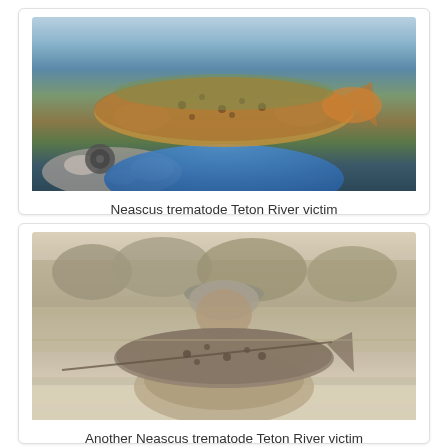[Figure (photo): Color photograph of a person in a blue fly fishing shirt holding a large brown/olive trout with spotted markings near a rocky riverbank with a fly reel visible]
Neascus trematode Teton River victim
[Figure (photo): Sepia/black-and-white photograph of a person wearing a hat holding a trout while seated in a boat on a river, with trees and river visible in the background]
Another Neascus trematode Teton River victim